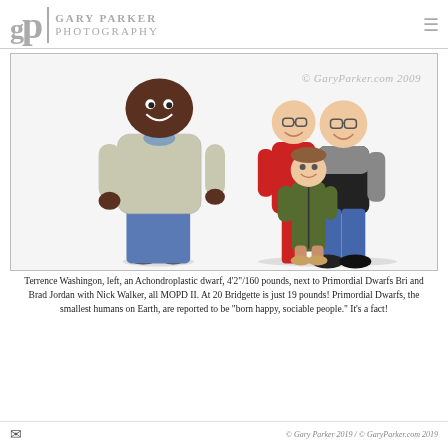GARY PARKER PHOTOGRAPHY
[Figure (photo): Photography studio portrait showing Terrence Washingon on the left, an Achondroplastic dwarf standing alone, and on the right three people: Bri and Brad Jordan (Primordial Dwarfs) with Nick Walker, all MOPD II. White studio background with copyright watermark '© GaryParker.com 2009'.]
Terrence Washingon, left, an Achondroplastic dwarf, 4'2"/160 pounds, next to Primordial Dwarfs Bri and Brad Jordan with Nick Walker, all MOPD II. At 20 Bridgette is just 19 pounds! Primordial Dwarfs, the smallest humans on Earth, are reported to be "born happy, sociable people." It's a fact!
© Gary Parker 2019 / © GaryParker.com 2019